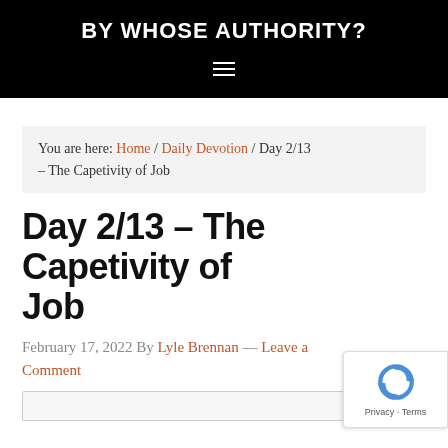BY WHOSE AUTHORITY?
You are here: Home / Daily Devotion / Day 2/13 – The Capetivity of Job
Day 2/13 – The Capetivity of Job
February 17, 2022 By Lyle Brennan — Leave a Comment